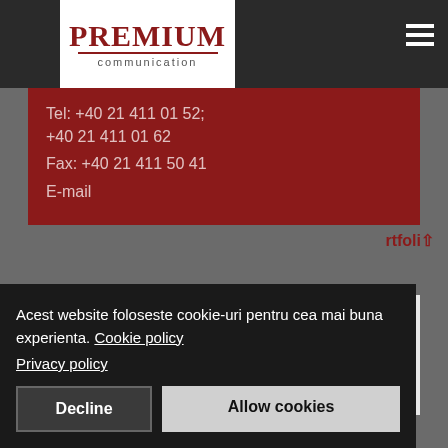[Figure (logo): Premium Communication logo with red text and underline on white background]
Tel: +40 21 411 01 52; +40 21 411 01 62
Fax: +40 21 411 50 41
E-mail
Who's Online
We have 116 guests and no members online
Acest website foloseste cookie-uri pentru cea mai buna experienta. Cookie policy
Privacy policy
Decline
Allow cookies